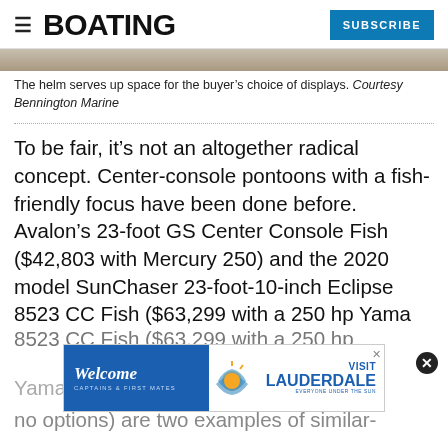BOATING | SUBSCRIBE
[Figure (photo): Partial photo of a boat helm, cropped at top]
The helm serves up space for the buyer's choice of displays. Courtesy Bennington Marine
To be fair, it’s not an altogether radical concept. Center-console pontoons with a fish-friendly focus have been done before. Avalon’s 23-foot GS Center Console Fish ($42,803 with Mercury 250) and the 2020 model SunChaser 23-foot-10-inch Eclipse 8523 CC Fish ($63,299 with a 250 hp Yamaha, standard features, and no options) are two examples of similar-
[Figure (screenshot): Advertisement banner: Welcome Captains & First Mates / Visit Fort Lauderdale - Everyone Under the Sun]